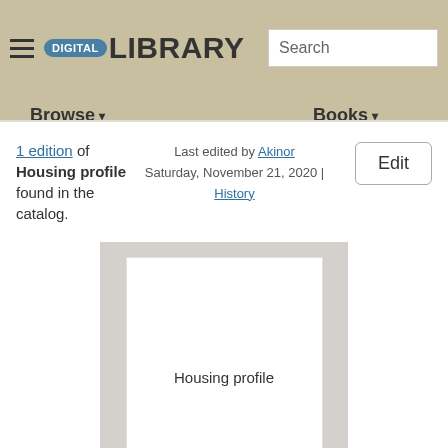≡ DIGITAL LIBRARY  Search  Browse ▾  Books ▾
1 edition of Housing profile found in the catalog.
Last edited by Akinor Saturday, November 21, 2020 | History
Edit
[Figure (illustration): Gray placeholder book cover with text 'Housing profile' in the center]